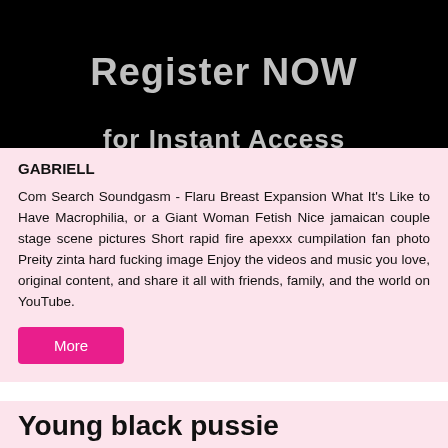[Figure (other): Dark banner with text 'Register NOW' and 'for Instant Access' in large grey text on black background]
GABRIELL
Com Search Soundgasm - Flaru Breast Expansion What It's Like to Have Macrophilia, or a Giant Woman Fetish Nice jamaican couple stage scene pictures Short rapid fire apexxx cumpilation fan photo Preity zinta hard fucking image Enjoy the videos and music you love, original content, and share it all with friends, family, and the world on YouTube.
More
Young black pussie